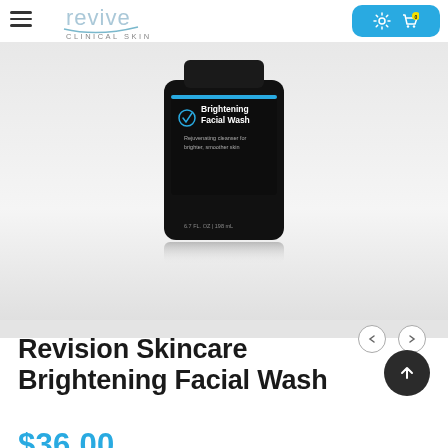revive CLINICAL SKIN — navigation header with hamburger menu and cart
[Figure (photo): Product photo of Revision Skincare Brightening Facial Wash bottle — black bottle with label reading 'Brightening Facial Wash, Rejuvenating cleanser for brighter, smoother skin, 6.7 FL. OZ | 198 mL' with reflection below, on light grey background]
Revision Skincare Brightening Facial Wash
$36.00